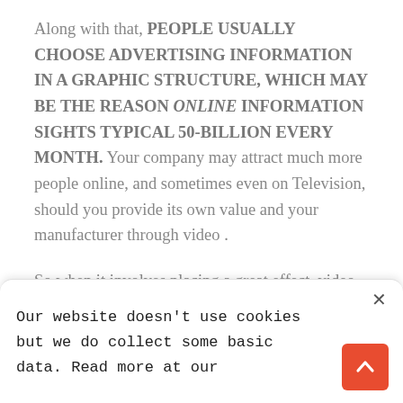Along with that, PEOPLE USUALLY CHOOSE ADVERTISING INFORMATION IN A GRAPHIC STRUCTURE, WHICH MAY BE THE REASON ONLINE INFORMATION SIGHTS TYPICAL 50-BILLION EVERY MONTH. Your company may attract much more people online, and sometimes even on Television, should you provide its own value and your manufacturer through video . So when it involves placing a great effect, video also perform very well on target
Our website doesn't use cookies but we do collect some basic data. Read more at our